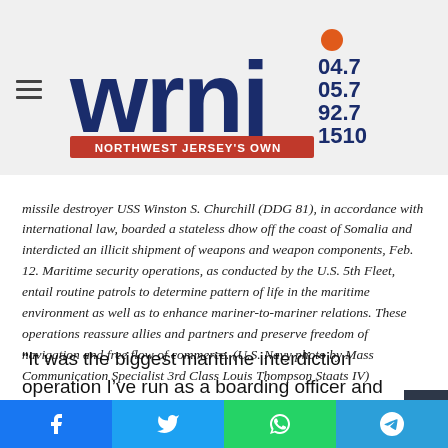WRNJ 104.7 105.7 92.7 1510 — Northwest Jersey's Own
missile destroyer USS Winston S. Churchill (DDG 81), in accordance with international law, boarded a stateless dhow off the coast of Somalia and interdicted an illicit shipment of weapons and weapon components, Feb. 12. Maritime security operations, as conducted by the U.S. 5th Fleet, entail routine patrols to determine pattern of life in the maritime environment as well as to enhance mariner-to-mariner relations. These operations reassure allies and partners and preserve freedom of navigation and free flow of commerce. (U.S. Navy photo by Mass Communication Specialist 3rd Class Louis Thompson Staats IV)
“It was the biggest maritime interdiction operation I’ve run as a boarding officer and liaison officer, outside of my duties in damage control,” Maguire said. “The seizure demonstrated the success of our joint operation with the Coast Guard in 5th Fleet.”